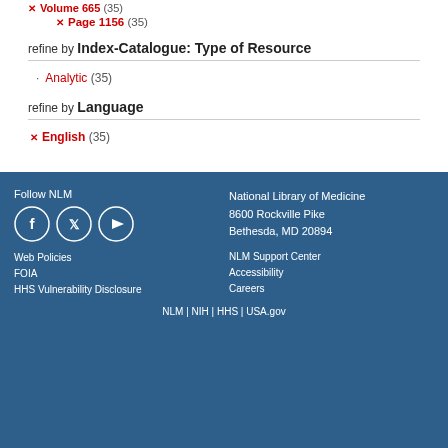× Volume 665 (35) × Page 1156 (35)
refine by Index-Catalogue: Type of Resource
· Analytic (35)
refine by Language
× English (35)
Follow NLM | Facebook | Twitter | YouTube | National Library of Medicine 8600 Rockville Pike Bethesda, MD 20894 | Web Policies | FOIA | HHS Vulnerability Disclosure | NLM Support Center | Accessibility | Careers | NLM | NIH | HHS | USA.gov